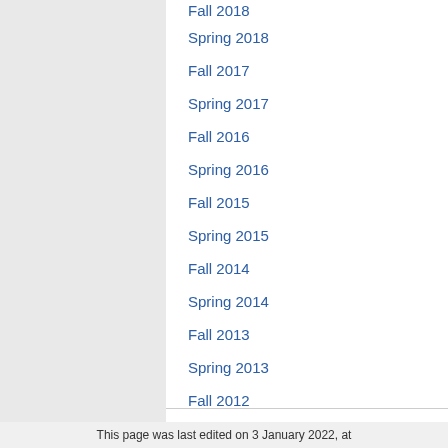Fall 2018
Spring 2018
Fall 2017
Spring 2017
Fall 2016
Spring 2016
Fall 2015
Spring 2015
Fall 2014
Spring 2014
Fall 2013
Spring 2013
Fall 2012
WIMAW
This page was last edited on 3 January 2022, at